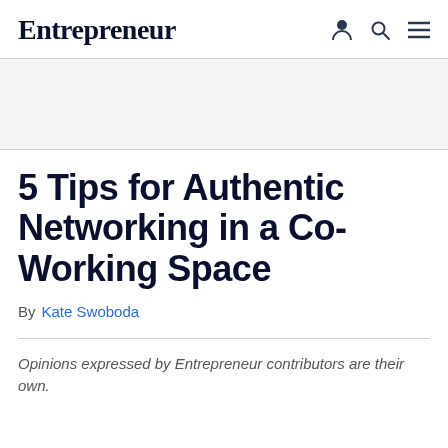Entrepreneur
5 Tips for Authentic Networking in a Co-Working Space
By Kate Swoboda
Opinions expressed by Entrepreneur contributors are their own.